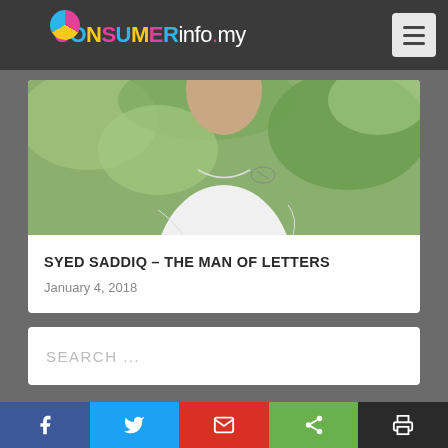CONSUMERinfo.my
[Figure (photo): Photo of a person wearing a white polo shirt with a polo player logo, standing in front of green foliage background]
SYED SADDIQ – THE MAN OF LETTERS
January 4, 2018
SEARCH ...
RECENT POSTS